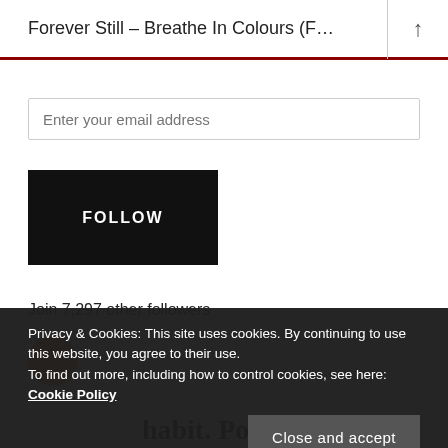Forever Still – Breathe In Colours (F…
Enter your email address
FOLLOW
Join 7,297 other followers
Privacy & Cookies: This site uses cookies. By continuing to use this website, you agree to their use.
To find out more, including how to control cookies, see here: Cookie Policy
Close and accept
habit. Post on